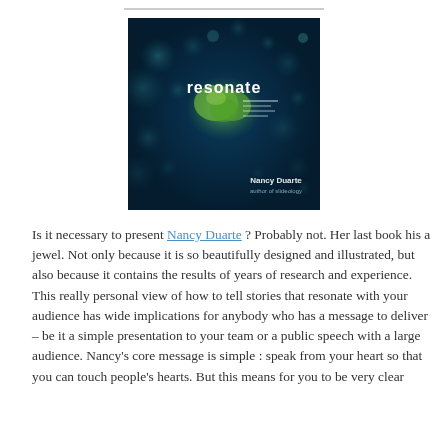[Figure (illustration): Book cover of 'Resonate' by Nancy Duarte — dark navy blue background with glowing teal/green bokeh circles and a green brain-like shape in the center, white text reading 'resonate', author name 'Nancy Duarte' at bottom right]
Is it necessary to present Nancy Duarte ? Probably not. Her last book his a jewel. Not only because it is so beautifully designed and illustrated, but also because it contains the results of years of research and experience. This really personal view of how to tell stories that resonate with your audience has wide implications for anybody who has a message to deliver – be it a simple presentation to your team or a public speech with a large audience. Nancy's core message is simple : speak from your heart so that you can touch people's hearts. But this means for you to be very clear